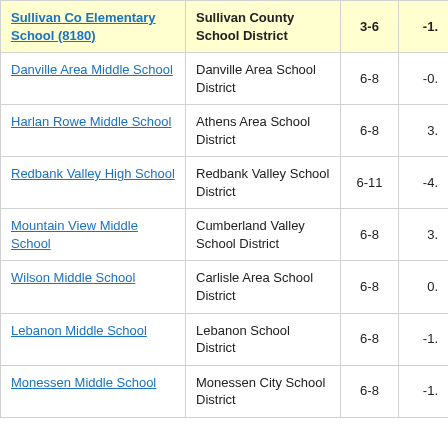| School | District | Grades | Score |
| --- | --- | --- | --- |
| Sullivan Co Elementary School (8180) | Sullivan County School District | 3-6 | -1. |
| Danville Area Middle School | Danville Area School District | 6-8 | -0. |
| Harlan Rowe Middle School | Athens Area School District | 6-8 | 3. |
| Redbank Valley High School | Redbank Valley School District | 6-11 | -4. |
| Mountain View Middle School | Cumberland Valley School District | 6-8 | 3. |
| Wilson Middle School | Carlisle Area School District | 6-8 | 0. |
| Lebanon Middle School | Lebanon School District | 6-8 | -1. |
| Monessen Middle School | Monessen City School District | 6-8 | -1. |